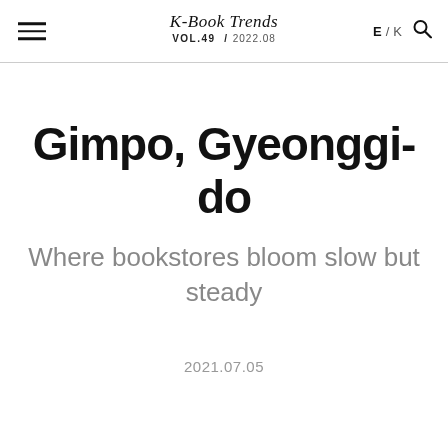K-Book Trends VOL.49 / 2022.08 E / K
Gimpo, Gyeonggi-do
Where bookstores bloom slow but steady
2021.07.05